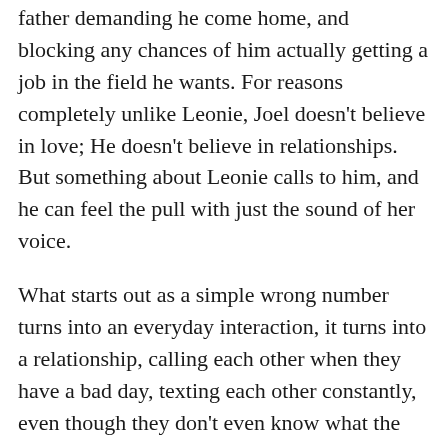father demanding he come home, and blocking any chances of him actually getting a job in the field he wants. For reasons completely unlike Leonie, Joel doesn't believe in love; He doesn't believe in relationships. But something about Leonie calls to him, and he can feel the pull with just the sound of her voice.
What starts out as a simple wrong number turns into an everyday interaction, it turns into a relationship, calling each other when they have a bad day, texting each other constantly, even though they don't even know what the other looks like. They talk about their hopes and dreams, their goals, what they want from the future, they talk about their past. They open up to each other in ways they never imagined they would to a total stranger. What starts out virtual leads to them meeting in person, and the connection they had on the phone only grows.
I loved many things about this book, but one of my absolute favorites was that they were both busy trying to carve out their own futures, and the path that led to this idea of what they...